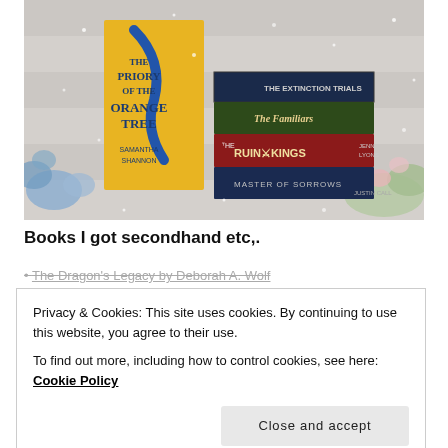[Figure (photo): Photo of fantasy books arranged on a light wooden surface with flowers. Books visible include 'The Priory of the Orange Tree' by Samantha Shannon, 'The Extinction Trials', 'The Familiars', 'The Ruin of Kings' by Jenn Lyons, and 'Master of Sorrows' by Justin Call. Background has a snowy/sparkle overlay.]
Books I got secondhand etc,.
The Dragon's Legacy by Deborah A. Wolf
Privacy & Cookies: This site uses cookies. By continuing to use this website, you agree to their use.
To find out more, including how to control cookies, see here: Cookie Policy
Close and accept